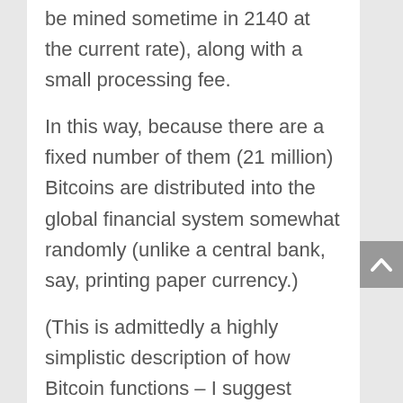be mined sometime in 2140 at the current rate), along with a small processing fee.
In this way, because there are a fixed number of them (21 million) Bitcoins are distributed into the global financial system somewhat randomly (unlike a central bank, say, printing paper currency.)
(This is admittedly a highly simplistic description of how Bitcoin functions – I suggest watching the video